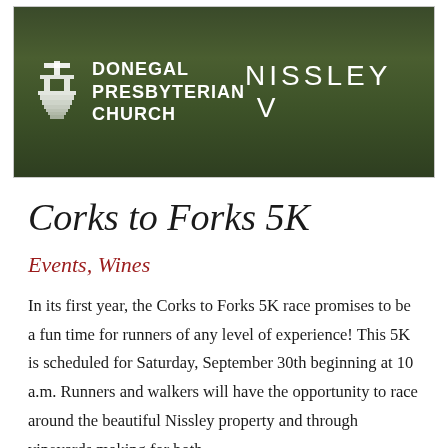[Figure (photo): Banner image showing Donegal Presbyterian Church logo and NISSLEY text overlaid on a dark green vineyard/forest background photo]
Corks to Forks 5K
Events, Wines
In its first year, the Corks to Forks 5K race promises to be a fun time for runners of any level of experience! This 5K is scheduled for Saturday, September 30th beginning at 10 a.m. Runners and walkers will have the opportunity to race around the beautiful Nissley property and through vineyards making for both